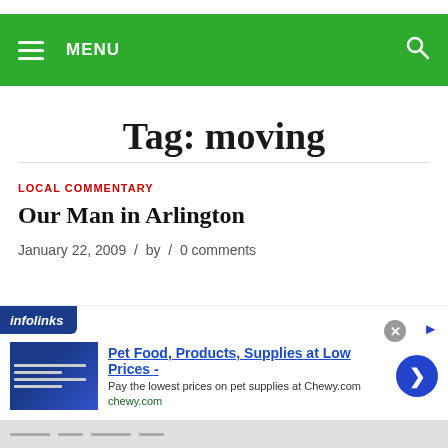MENU
Tag: moving
LOCAL COMMENTARY
Our Man in Arlington
January 22, 2009 / by / 0 comments
[Figure (screenshot): Advertisement banner from infolinks for Chewy.com pet supplies]